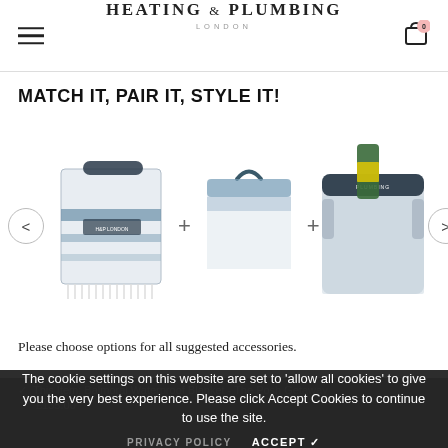HEATING & PLUMBING LONDON — navigation header with hamburger menu and cart icon showing 0 items
MATCH IT, PAIR IT, STYLE IT!
[Figure (photo): Three product images in a horizontal carousel: a folded plaid blanket/carry bag in blue and white, a blue and white cushion with handle, and a champagne bottle in an ice bucket with Heating & Plumbing London branding. Two navigation arrows (< and >) on left and right. Products separated by + signs.]
Please choose options for all suggested accessories.
The cookie settings on this website are set to 'allow all cookies' to give you the very best experience. Please click Accept Cookies to continue to use the site.
This Item: Balmoral Waterproof Blanket - The Posh Getaway
£135.00
Waterproof Outdoor Cushion In Pure New Wool -
PRIVACY POLICY    ACCEPT ✓